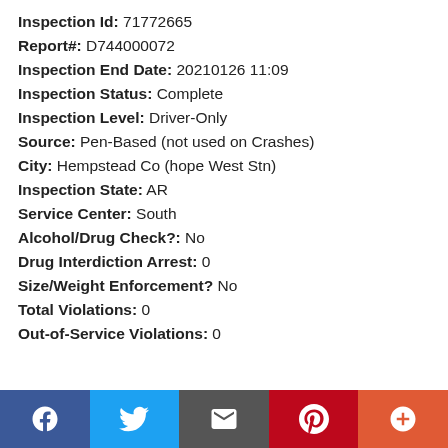Inspection Id: 71772665
Report#: D744000072
Inspection End Date: 20210126 11:09
Inspection Status: Complete
Inspection Level: Driver-Only
Source: Pen-Based (not used on Crashes)
City: Hempstead Co (hope West Stn)
Inspection State: AR
Service Center: South
Alcohol/Drug Check?: No
Drug Interdiction Arrest: 0
Size/Weight Enforcement? No
Total Violations: 0
Out-of-Service Violations: 0